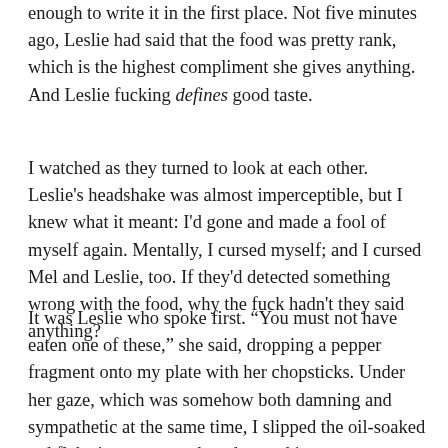enough to write it in the first place. Not five minutes ago, Leslie had said that the food was pretty rank, which is the highest compliment she gives anything. And Leslie fucking defines good taste.
I watched as they turned to look at each other. Leslie's headshake was almost imperceptible, but I knew what it meant: I'd gone and made a fool of myself again. Mentally, I cursed myself; and I cursed Mel and Leslie, too. If they'd detected something wrong with the food, why the fuck hadn't they said anything?
It was Leslie who spoke first. “You must not have eaten one of these,” she said, dropping a pepper fragment onto my plate with her chopsticks. Under her gaze, which was somehow both damning and sympathetic at the same time, I slipped the oil-soaked red flake into my mouth and turned it over on my tongue.